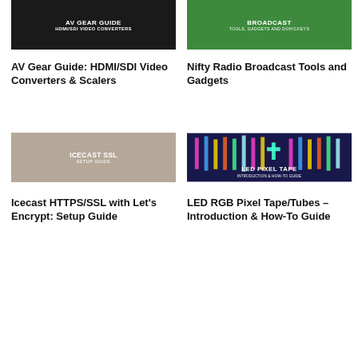[Figure (illustration): Dark background thumbnail with white bold text reading AV GEAR GUIDE HDMI/SDI VIDEO CONVERTERS]
[Figure (illustration): Green background thumbnail with white text reading BROADCAST TOOLS, GADGETS AND DOHICKEYS]
AV Gear Guide: HDMI/SDI Video Converters & Scalers
Nifty Radio Broadcast Tools and Gadgets
[Figure (illustration): Beige/tan background thumbnail with white bold text reading ICECAST SSL SETUP GUIDE]
[Figure (illustration): Dark blue background with colorful LED lights and white text reading LED PIXEL TAPE INTRODUCTION & HOW-TO GUIDE]
Icecast HTTPS/SSL with Let's Encrypt: Setup Guide
LED RGB Pixel Tape/Tubes – Introduction & How-To Guide